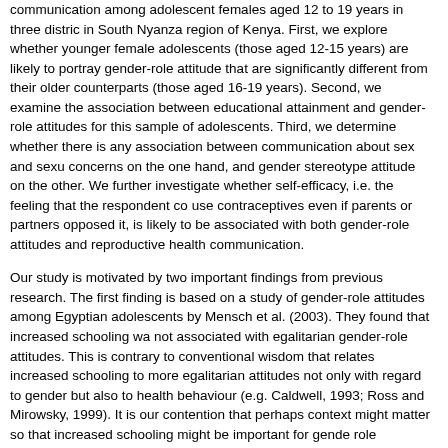communication among adolescent females aged 12 to 19 years in three districts in South Nyanza region of Kenya. First, we explore whether younger female adolescents (those aged 12-15 years) are likely to portray gender-role attitudes that are significantly different from their older counterparts (those aged 16-19 years). Second, we examine the association between educational attainment and gender-role attitudes for this sample of adolescents. Third, we determine whether there is any association between communication about sex and sexual concerns on the one hand, and gender stereotype attitude on the other. We further investigate whether self-efficacy, i.e. the feeling that the respondent could use contraceptives even if parents or partners opposed it, is likely to be associated with both gender-role attitudes and reproductive health communication.
Our study is motivated by two important findings from previous research. The first finding is based on a study of gender-role attitudes among Egyptian adolescents by Mensch et al. (2003). They found that increased schooling was not associated with egalitarian gender-role attitudes. This is contrary to conventional wisdom that relates increased schooling to more egalitarian attitudes not only with regard to gender but also to health behaviour (e.g. Caldwell, 1993; Ross and Mirowsky, 1999). It is our contention that perhaps context might matter so that increased schooling might be important for gender-role attitudes in a different setting. The second finding is based on a study of gender, sexuality, and sexual and reproductive health communication among youth in the Philippines by Erickson et al. (2003). They found that traditional gender constructions and social norms inhibited discussion of sexual and reproductive health issues among youth, their parents and teachers. But we do not know whether similar conclusions can be reached in a different cultural context.
Evidence suggests that existing gender norms may determine who the